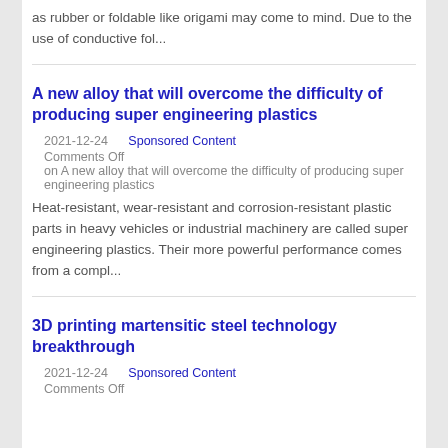as rubber or foldable like origami may come to mind. Due to the use of conductive fol...
A new alloy that will overcome the difficulty of producing super engineering plastics
2021-12-24   Sponsored Content
Comments Off
on A new alloy that will overcome the difficulty of producing super engineering plastics
Heat-resistant, wear-resistant and corrosion-resistant plastic parts in heavy vehicles or industrial machinery are called super engineering plastics. Their more powerful performance comes from a compl...
3D printing martensitic steel technology breakthrough
2021-12-24   Sponsored Content
Comments Off